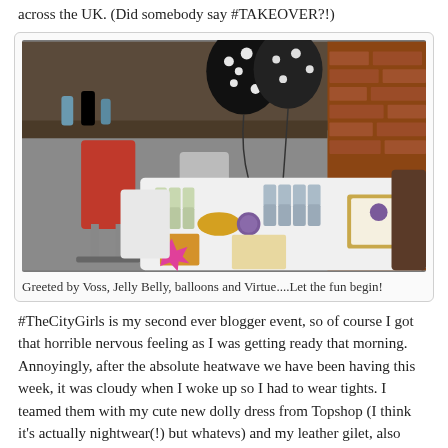across the UK. (Did somebody say #TAKEOVER?!)
[Figure (photo): Interior event photo showing a table with Voss water bottles, Jelly Belly sweets, balloons (black and white polka dot), bar stools, and decorative items including a framed sign and purple circular logos.]
Greeted by Voss, Jelly Belly, balloons and Virtue....Let the fun begin!
#TheCityGirls is my second ever blogger event, so of course I got that horrible nervous feeling as I was getting ready that morning. Annoyingly, after the absolute heatwave we have been having this week, it was cloudy when I woke up so I had to wear tights. I teamed them with my cute new dolly dress from Topshop (I think it's actually nightwear(!) but whatevs) and my leather gilet, also from Topshop. On my feet I debuted my new River Island heeled boots-the ones from my VLOG!